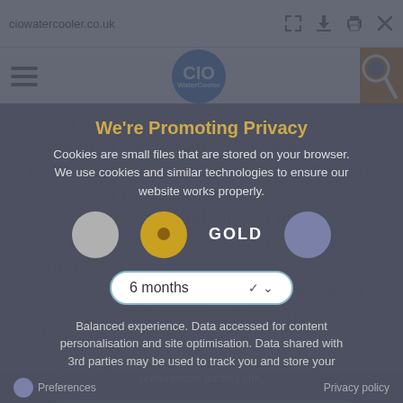ciowatercooler.co.uk
[Figure (logo): CIO WaterCooler circular logo in blue]
should they be leading into environments of Quantum Systematic Thinking, Feedback loops (constructive and timely), Innovations by empowerments, encouragements, challenging the status quos, thinking out of box for problem solving, etc,.
6. One of this question frequently discussed in Agile Coaches groups – Is quality of code the
7. My thoughts are on this particular question is as follows :-
8. *If we have defined quality and levels of Codes, then why do need to micromanage resources ? Is this an organisational needs or rather
[Figure (screenshot): Cookie consent modal overlay with title 'We're Promoting Privacy', cookie tier circles (grey, gold, purple with GOLD label), 6 months duration dropdown, balanced experience text, and Save my preferences button]
Preferences    Privacy policy